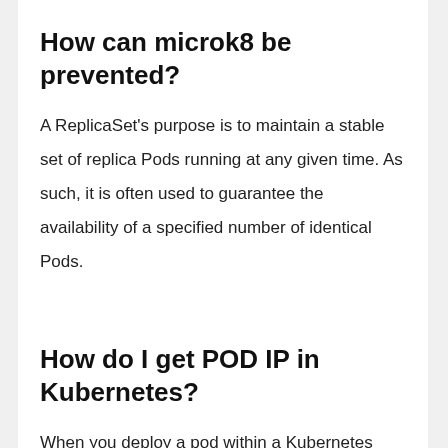How can microk8 be prevented?
A ReplicaSet's purpose is to maintain a stable set of replica Pods running at any given time. As such, it is often used to guarantee the availability of a specified number of identical Pods.
How do I get POD IP in Kubernetes?
When you deploy a pod within a Kubernetes cluster, you will often create replicas of the pod to scale an